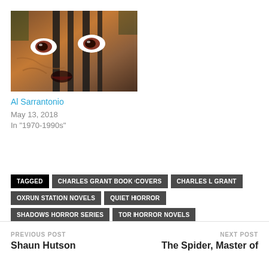[Figure (photo): Book cover showing close-up of creature eyes and face behind bars or slats, horror imagery with orange/brown tones]
Al Sarrantonio
May 13, 2018
In "1970-1990s"
TAGGED   CHARLES GRANT BOOK COVERS   CHARLES L GRANT   OXRUN STATION NOVELS   QUIET HORROR   SHADOWS HORROR SERIES   TOR HORROR NOVELS
PREVIOUS POST: Shaun Hutson | NEXT POST: The Spider, Master of